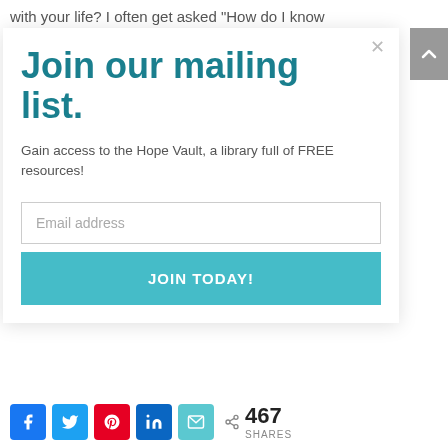with your life? I often get asked “How do I know
Join our mailing list.
Gain access to the Hope Vault, a library full of FREE resources!
Email address
JOIN TODAY!
< 467 SHARES